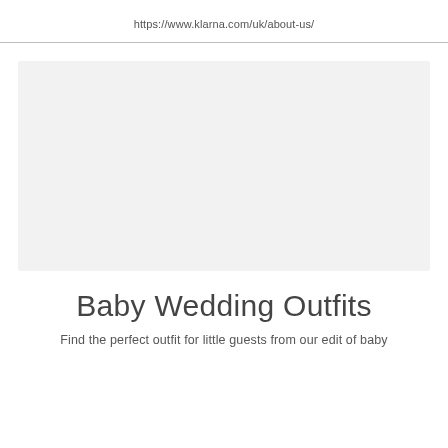https://www.klarna.com/uk/about-us/
[Figure (photo): Large light gray placeholder image area representing a website banner or hero image for baby wedding outfits]
Baby Wedding Outfits
Find the perfect outfit for little guests from our edit of baby